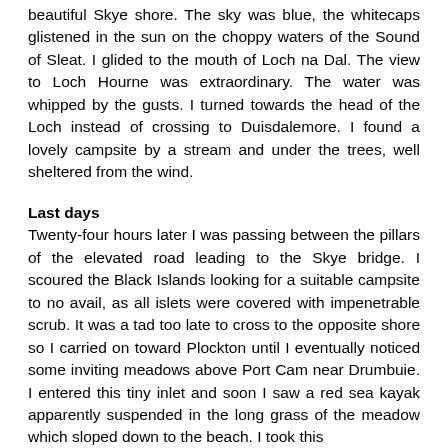beautiful Skye shore. The sky was blue, the whitecaps glistened in the sun on the choppy waters of the Sound of Sleat. I glided to the mouth of Loch na Dal. The view to Loch Hourne was extraordinary. The water was whipped by the gusts. I turned towards the head of the Loch instead of crossing to Duisdalemore. I found a lovely campsite by a stream and under the trees, well sheltered from the wind.
Last days
Twenty-four hours later I was passing between the pillars of the elevated road leading to the Skye bridge. I scoured the Black Islands looking for a suitable campsite to no avail, as all islets were covered with impenetrable scrub. It was a tad too late to cross to the opposite shore so I carried on toward Plockton until I eventually noticed some inviting meadows above Port Cam near Drumbuie. I entered this tiny inlet and soon I saw a red sea kayak apparently suspended in the long grass of the meadow which sloped down to the beach. I took this